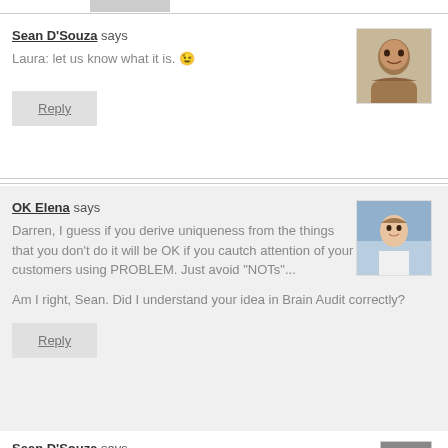Sean D'Souza says
Laura: let us know what it is. 😉
Reply
OK Elena says
Darren, I guess if you derive uniqueness from the things that you don't do it will be OK if you cautch attention of your customers using PROBLEM. Just avoid "NOTs"...

Am I right, Sean. Did I understand your idea in Brain Audit correctly?
Reply
Sean D'Souza says